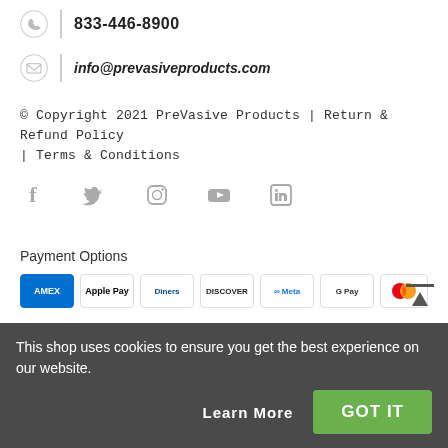833-446-8900
info@prevasiveproducts.com
© Copyright 2021 PreVasive Products | Return & Refund Policy | Terms & Conditions
[Figure (illustration): Social media icons: Facebook, Twitter, Instagram, YouTube, LinkedIn]
Payment Options
[Figure (illustration): Payment method logos: Amex, Apple Pay, Diners Club, Discover, Meta Pay, Google Pay, Mastercard]
This shop uses cookies to ensure you get the best experience on our website.
Learn More
GOT IT